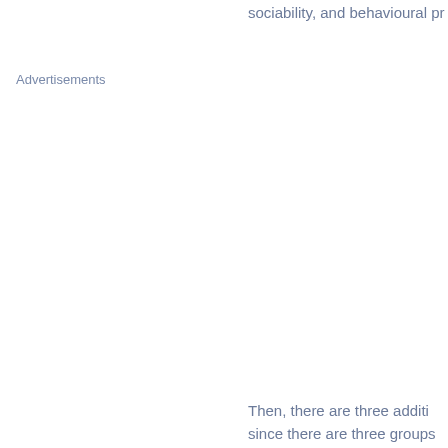sociability, and behavioural pr
Advertisements
Then, there are three additi since there are three groups